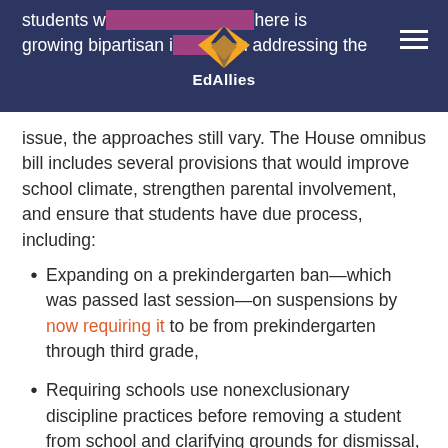EdAllies
students w... here is growing bipartisan i... in addressing the issue, the approaches still vary. The House omnibus bill includes several provisions that would improve school climate, strengthen parental involvement, and ensure that students have due process, including:
Expanding on a prekindergarten ban—which was passed last session—on suspensions by now requiring it to be from prekindergarten through third grade,
Requiring schools use nonexclusionary discipline practices before removing a student from school and clarifying grounds for dismissal,
Expanding parental notification rights for